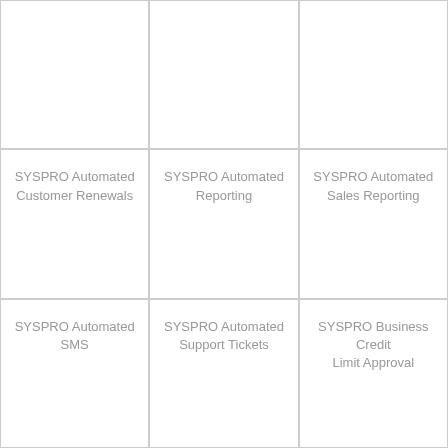[Figure (other): Empty card cell, row 1 col 1]
[Figure (other): Empty card cell, row 1 col 2]
[Figure (other): Empty card cell, row 1 col 3]
SYSPRO Automated Customer Renewals
SYSPRO Automated Reporting
SYSPRO Automated Sales Reporting
SYSPRO Automated SMS
SYSPRO Automated Support Tickets
SYSPRO Business Credit Limit Approval